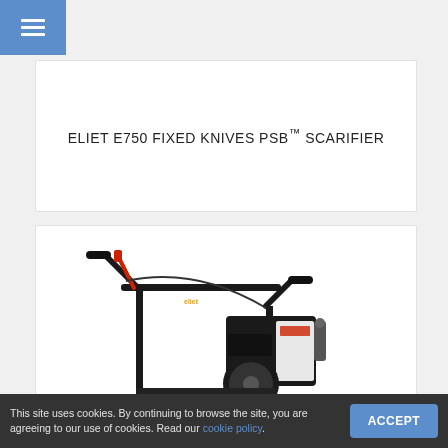☰ (hamburger menu)
ELIET E750 FIXED KNIVES PSB™ SCARIFIER
[Figure (photo): Photo of the Eliet E750 scarifier machine showing handlebars with red control lever, engine unit, and lower body of the machine against white background]
This site uses cookies. By continuing to browse the site, you are agreeing to our use of cookies. Read our cookie policy.